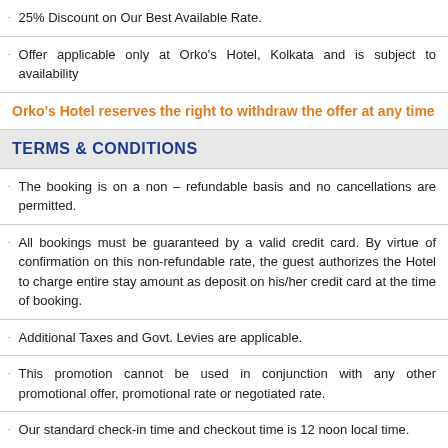25% Discount on Our Best Available Rate.
Offer applicable only at Orko's Hotel, Kolkata and is subject to availability
Orko's Hotel reserves the right to withdraw the offer at any time
TERMS & CONDITIONS
The booking is on a non – refundable basis and no cancellations are permitted.
All bookings must be guaranteed by a valid credit card. By virtue of confirmation on this non-refundable rate, the guest authorizes the Hotel to charge entire stay amount as deposit on his/her credit card at the time of booking.
Additional Taxes and Govt. Levies are applicable.
This promotion cannot be used in conjunction with any other promotional offer, promotional rate or negotiated rate.
Our standard check-in time and checkout time is 12 noon local time.
Subject to availability of rooms, we can offer an early